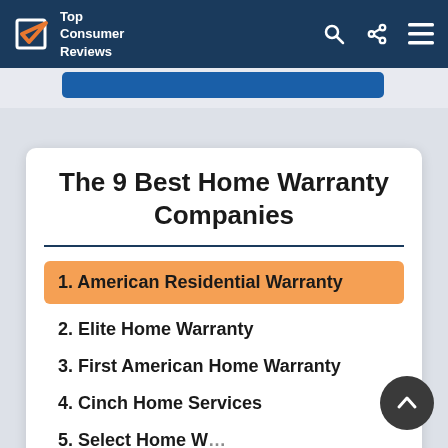Top Consumer Reviews
The 9 Best Home Warranty Companies
1. American Residential Warranty
2. Elite Home Warranty
3. First American Home Warranty
4. Cinch Home Services
5. Select Home Warranty